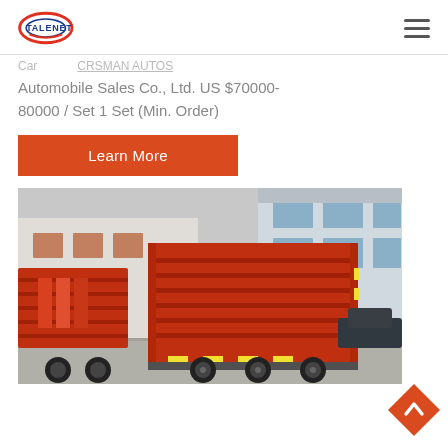TALENET
Automobile Sales Co., Ltd. US $70000-80000 / Set 1 Set (Min. Order)
Learn More
[Figure (photo): Red heavy-duty dump trucks parked in front of a commercial building, rear and side view showing large cargo beds with reflective markings and multiple rear axles.]